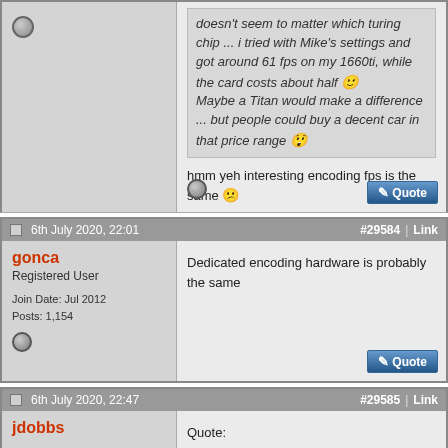doesn't seem to matter which turing chip ... i tried with Mike's settings and got around 61 fps on my 1660ti, while the card costs about half 🙂 Maybe a Titan would make a difference ... but people could buy a decent car in that price range 😲
hmm yeh interesting encoding fps is the same 😕
6th July 2020, 22:01  #29584 | Link
gonca
Registered User
Join Date: Jul 2012
Posts: 1,154
Dedicated encoding hardware is probably the same
6th July 2020, 22:47  #29585 | Link
jdobbs
Quote: